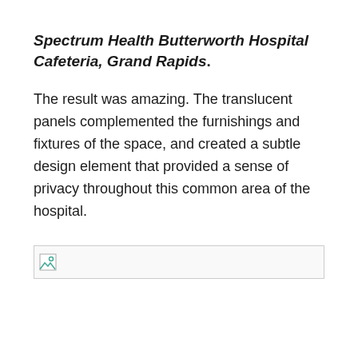Spectrum Health Butterworth Hospital Cafeteria, Grand Rapids.
The result was amazing. The translucent panels complemented the furnishings and fixtures of the space, and created a subtle design element that provided a sense of privacy throughout this common area of the hospital.
[Figure (photo): Broken/missing image placeholder shown as a small icon with border]